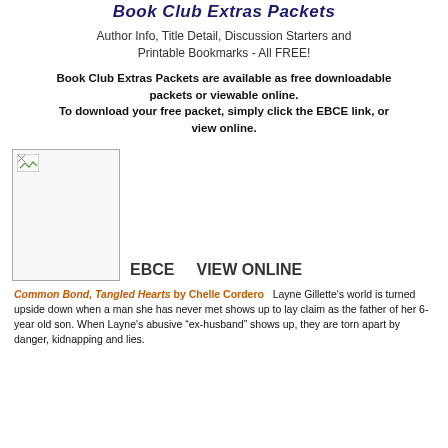Book Club Extras Packets
Author Info, Title Detail, Discussion Starters and Printable Bookmarks - All FREE!
Book Club Extras Packets are available as free downloadable packets or viewable online. To download your free packet, simply click the EBCE link, or view online.
[Figure (illustration): Broken image placeholder representing a book cover thumbnail]
EBCE    VIEW ONLINE
Common Bond, Tangled Hearts by Chelle Cordero   Layne Gillette's world is turned upside down when a man she has never met shows up to lay claim as the father of her 6-year old son. When Layne's abusive “ex-husband” shows up, they are torn apart by danger, kidnapping and lies.